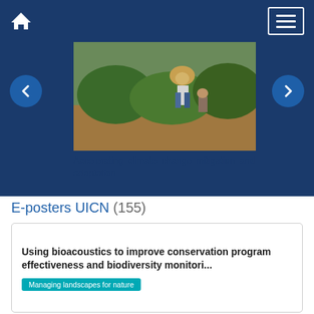Home | Menu
[Figure (photo): Photograph of a person wearing a hat working in a green crop field, partially obscured by the dark blue navigation overlay. Carousel navigation arrows (prev/next) are visible on the left and right sides.]
Accelerating climate change mitigation and adaptation
E-posters UICN (155)
Using bioacoustics to improve conservation program effectiveness and biodiversity monitori...
Managing landscapes for nature